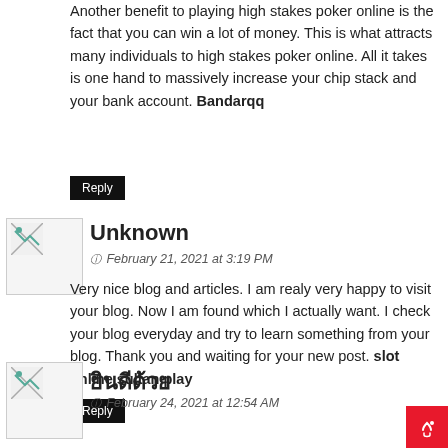Another benefit to playing high stakes poker online is the fact that you can win a lot of money. This is what attracts many individuals to high stakes poker online. All it takes is one hand to massively increase your chip stack and your bank account. Bandarqq
Reply
[Figure (photo): Avatar image placeholder with broken image icon]
Unknown
February 21, 2021 at 3:19 PM
Very nice blog and articles. I am realy very happy to visit your blog. Now I am found which I actually want. I check your blog everyday and try to learn something from your blog. Thank you and waiting for your new post. slot online sultan play
Reply
[Figure (photo): Avatar image placeholder with broken image icon]
ยินดีด้วย
February 24, 2021 at 12:54 AM
Your information was very useful to me. That's exactly what I've been looking for ยินดีด้วย !
Reply